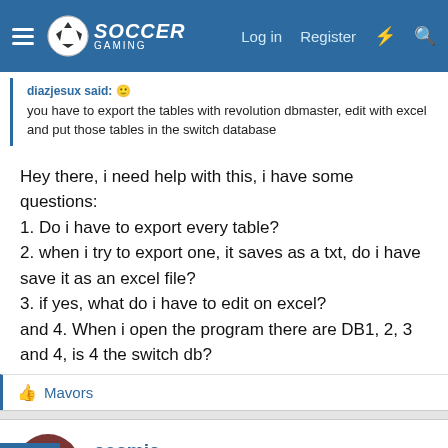Soccer Gaming — Log in | Register
diazjesux said: you have to export the tables with revolution dbmaster, edit with excel and put those tables in the switch database
Hey there, i need help with this, i have some questions:
1. Do i have to export every table?
2. when i try to export one, it saves as a txt, do i have save it as an excel file?
3. if yes, what do i have to edit on excel?
and 4. When i open the program there are DB1, 2, 3 and 4, is 4 the switch db?
Mavors
cosmic
Club Supporter
Oct 31, 2020   #15